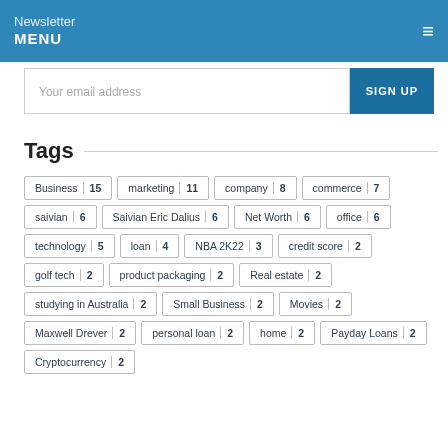Newsletter MENU ≡
Your email address  SIGN UP
Tags
Business 15
marketing 11
company 8
commerce 7
saivian 6
Saivian Eric Dalius 6
Net Worth 6
office 6
technology 5
loan 4
NBA 2K22 3
credit score 2
golf tech 2
product packaging 2
Real estate 2
studying in Australia 2
Small Business 2
Movies 2
Maxwell Drever 2
personal loan 2
home 2
Payday Loans 2
Cryptocurrency 2